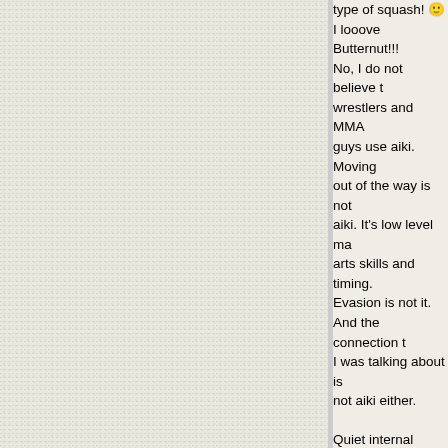type of squash! I looove Butternut!!! No, I do not believe that wrestlers and MMA guys use aiki. Moving out of the way is not aiki. It's low level martial arts skills and timing. Evasion is not it. And the connection that I was talking about is not aiki either.

Quiet internal strength does not come from aikido. That's why so few in aikido have it and Shihan keep going outside to find it. I have seen very few in the art who have developed it and none so far who have developed it to what I would consider a high level. Also, I have yet to personally feel anyone who had something past basic connection....and they...all agree with that. It will be interesting